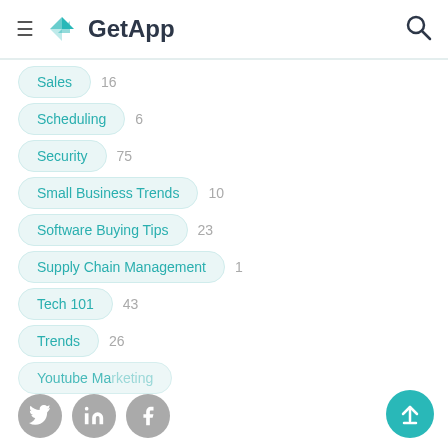GetApp
Sales 16
Scheduling 6
Security 75
Small Business Trends 10
Software Buying Tips 23
Supply Chain Management 1
Tech 101 43
Trends 26
Youtube Marketing